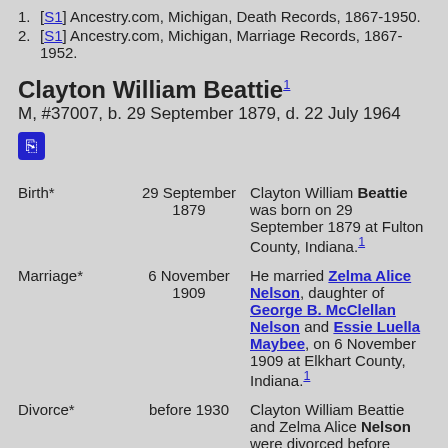1. [S1] Ancestry.com, Michigan, Death Records, 1867-1950.
2. [S1] Ancestry.com, Michigan, Marriage Records, 1867-1952.
Clayton William Beattie¹
M, #37007, b. 29 September 1879, d. 22 July 1964
| Event | Date | Description |
| --- | --- | --- |
| Birth* | 29 September 1879 | Clayton William Beattie was born on 29 September 1879 at Fulton County, Indiana.¹ |
| Marriage* | 6 November 1909 | He married Zelma Alice Nelson, daughter of George B. McClellan Nelson and Essie Luella Maybee, on 6 November 1909 at Elkhart County, Indiana.¹ |
| Divorce* | before 1930 | Clayton William Beattie and Zelma Alice Nelson were divorced before |